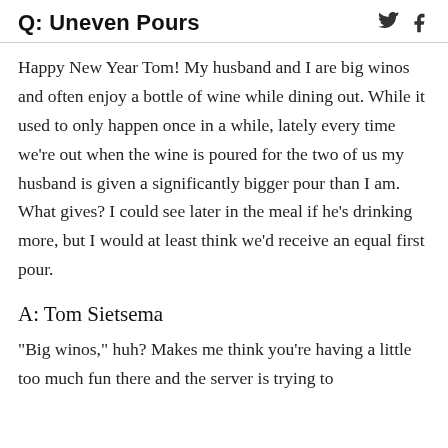Q: Uneven Pours
Happy New Year Tom! My husband and I are big winos and often enjoy a bottle of wine while dining out. While it used to only happen once in a while, lately every time we're out when the wine is poured for the two of us my husband is given a significantly bigger pour than I am. What gives? I could see later in the meal if he's drinking more, but I would at least think we'd receive an equal first pour.
A: Tom Sietsema
"Big winos," huh? Makes me think you're having a little too much fun there and the server is trying to